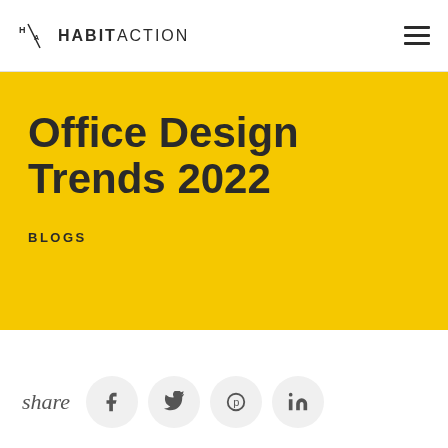HABITACTION
Office Design Trends 2022
BLOGS
share